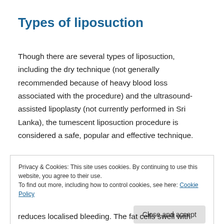Types of liposuction
Though there are several types of liposuction, including the dry technique (not generally recommended because of heavy blood loss associated with the procedure) and the ultrasound-assisted lipoplasty (not currently performed in Sri Lanka), the tumescent liposuction procedure is considered a safe, popular and effective technique.
Privacy & Cookies: This site uses cookies. By continuing to use this website, you agree to their use.
To find out more, including how to control cookies, see here: Cookie Policy
reduces localised bleeding. The fat cells swell with